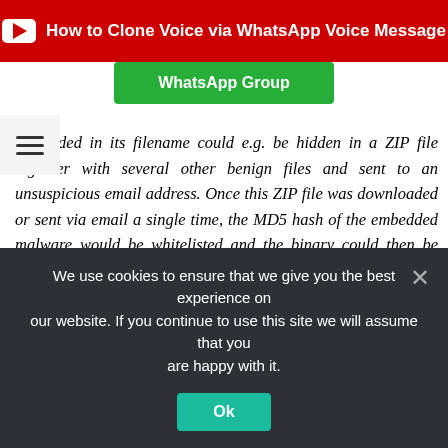[Figure (other): YouTube banner button: 'How to Clone Voice via WhatsApp Voice Message']
[Figure (other): Green WhatsApp Group button]
embedded in its filename could e.g. be hidden in a ZIP file together with several other benign files and sent to an unsuspicious email address. Once this ZIP file was downloaded or sent via email a single time, the MD5 hash of the embedded malware would be whitelisted and the binary could then be used with an arbitrary file name without detection."
FireEye is one the most important firm in the security industry and immediately worked on the development of a security patch (FX 7.5.1, AX 7.7.0, NX 7.6.1 and EX 7.6.2) which have been already
We use cookies to ensure that we give you the best experience on our website. If you continue to use this site we will assume that you are happy with it.